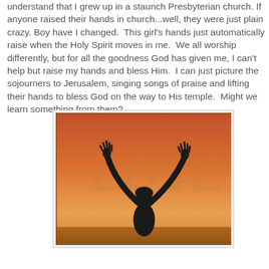understand that I grew up in a staunch Presbyterian church. If anyone raised their hands in church...well, they were just plain crazy. Boy have I changed. This girl's hands just automatically raise when the Holy Spirit moves in me. We all worship differently, but for all the goodness God has given me, I can't help but raise my hands and bless Him. I can just picture the sojourners to Jerusalem, singing songs of praise and lifting their hands to bless God on the way to His temple. Might we learn something from them?
[Figure (photo): Silhouette of a person with both arms raised high against an orange/sunset sky background, conveying worship or praise.]